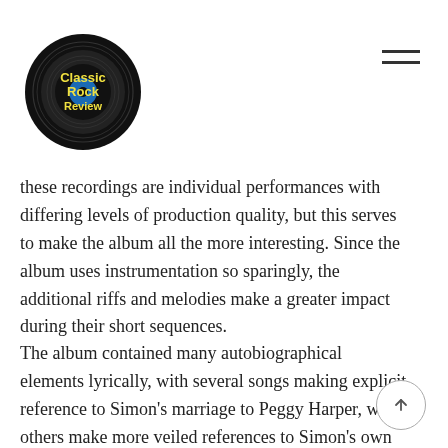Classic Rock Review
these recordings are individual performances with differing levels of production quality, but this serves to make the album all the more interesting. Since the album uses instrumentation so sparingly, the additional riffs and melodies make a greater impact during their short sequences.
The album contained many autobiographical elements lyrically, with several songs making explicit reference to Simon's marriage to Peggy Harper, while others make more veiled references to Simon's own adolescence, the place he grew up, and the challenges